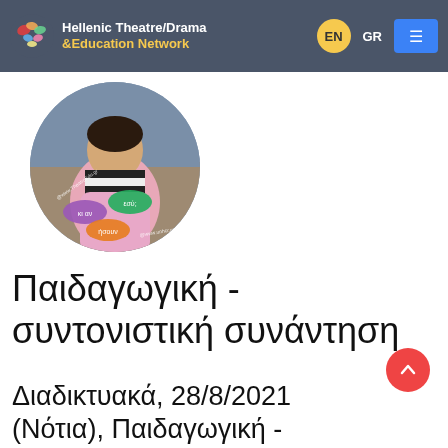Hellenic Theatre/Drama &Education Network — EN | GR | Menu
[Figure (photo): Circular photo of a child wearing a striped scarf and pink jacket, with text overlays including Greek words 'κι αν ήσουν εσύ;' and website URLs TheatroEdu.gr and www.unhcr.gr]
Παιδαγωγική - συντονιστική συνάντηση
Διαδικτυακά, 28/8/2021 (Νότια), Παιδαγωγική - συντονιστική συνάντηση